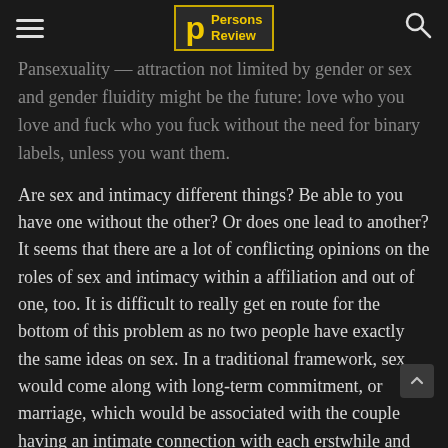Persons Review
Pansexuality — attraction not limited by gender or sex and gender fluidity might be the future: love who you love and fuck who you fuck without the need for binary labels, unless you want them.
Are sex and intimacy different things? Be able to you have one without the other? Or does one lead to another? It seems that there are a lot of conflicting opinions on the roles of sex and intimacy within a affiliation and out of one, too. It is difficult to really get en route for the bottom of this problem as no two people have exactly the same ideas on sex. In a traditional framework, sex would come along with long-term commitment, or marriage, which would be associated with the couple having an intimate connection with each erstwhile and usually wishing to procreate.